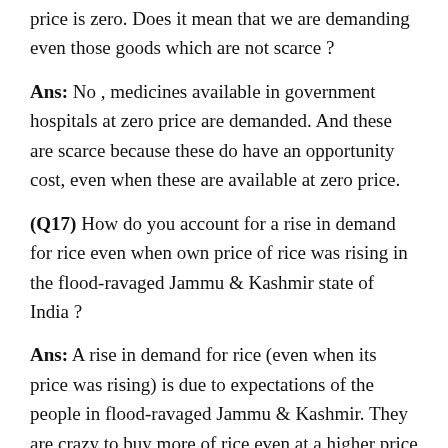price is zero. Does it mean that we are demanding even those goods which are not scarce?
Ans: No , medicines available in government hospitals at zero price are demanded. And these are scarce because these do have an opportunity cost, even when these are available at zero price.
(Q17) How do you account for a rise in demand for rice even when own price of rice was rising in the flood-ravaged Jammu & Kashmir state of India?
Ans: A rise in demand for rice (even when its price was rising) is due to expectations of the people in flood-ravaged Jammu & Kashmir. They are crazy to buy more of rice even at a higher price fearing that rice may not be available in the near future as most stocks